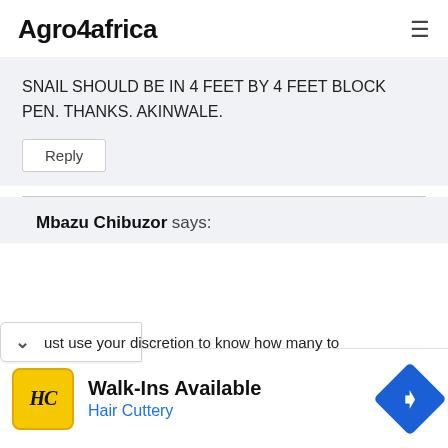Agro4africa
SNAIL SHOULD BE IN 4 FEET BY 4 FEET BLOCK PEN. THANKS. AKINWALE.
Reply
Mbazu Chibuzor says:
ust use your discretion to know how many to
[Figure (screenshot): Advertisement banner for Hair Cuttery: Walk-Ins Available, with HC logo on yellow background and blue navigation diamond icon]